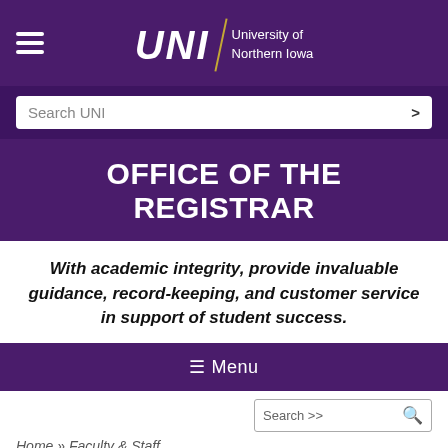[Figure (logo): University of Northern Iowa (UNI) logo with hamburger menu icon on the left, italic UNI wordmark, gold divider line, and 'University of Northern Iowa' text on purple background]
Search UNI
OFFICE OF THE REGISTRAR
With academic integrity, provide invaluable guidance, record-keeping, and customer service in support of student success.
≡ Menu
Search >>
Home » Faculty & Staff
Academic Catalog
Call for Classes
Leave a message